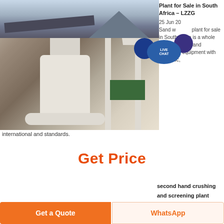[Figure (photo): Industrial sand washing/screening plant machinery with white equipment including a large vertical mill, metal frame structure, and hopper, photographed indoors]
Plant for Sale in South Africa – LZZG
25 Jun 2019 Sand washing plant for sale in South Africa is a whole production line and screening equipment with domestic,
international and standards.
Get Price
[Figure (photo): Second hand crushing and screening plant with conveyor belts and mountain backdrop]
second hand crushing and screening plant
Get a Quote
WhatsApp